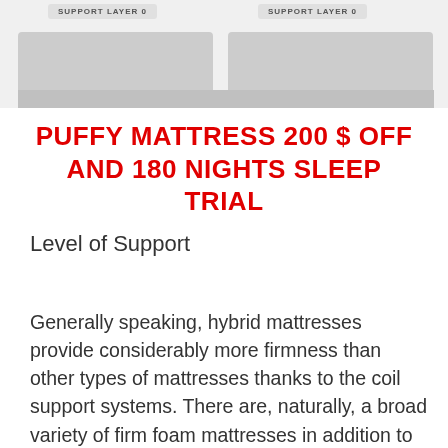[Figure (illustration): Top portion of a page showing two mattress layer diagrams with labels 'SUPPORT LAYER 0' on grey background boxes]
PUFFY MATTRESS 200 $ OFF AND 180 NIGHTS SLEEP TRIAL
Level of Support
Generally speaking, hybrid mattresses provide considerably more firmness than other types of mattresses thanks to the coil support systems. There are, naturally, a broad variety of firm foam mattresses in addition to many soft hybrids, but with the presence of coils within them, hybrid mattresses frequently feel firmer than their foam counterparts falling under the same category of firmness. In addition, numerous